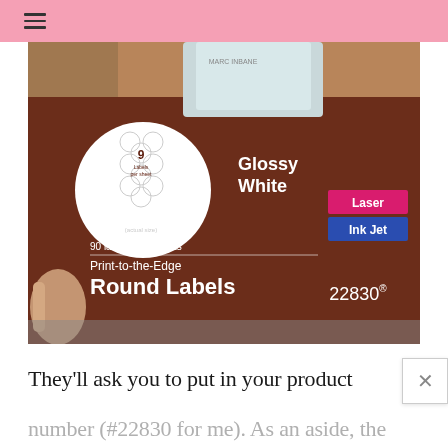≡
[Figure (photo): Photo of a product box: Avery Glossy White Print-to-the-Edge Round Labels, 2 1/2 inch diameter, 9 labels per sheet, 90 labels / 10 sheets, compatible with Laser and Ink Jet printers, product number 22830. A hand is visible holding the box on a table with other items in the background.]
They'll ask you to put in your product number (#22830 for me).  As an aside, the